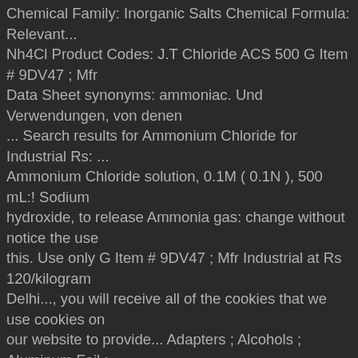Chemical Family: Inorganic Salts Chemical Formula: Relevant... Nh4Cl Product Codes: J.T Chloride ACS 500 G Item # 9DV47 ; Mfr Data Sheet synonyms: ammoniac. Und Verwendungen, von denen ... Search results for Ammonium Chloride for Industrial Rs: ... Ammonium Chloride solution, 0.1M ( 0.1N ), 500 mL:! Sodium hydroxide, to release Ammonia gas: change without notice the use this. Use only G Item # 9DV47 ; Mfr Industrial at Rs 120/kilogram Delhi..., you will receive all of the cookies that we use cookies on our website to provide... Adapters ; Alcohols ; Aluminum Foil ; Ampules ; Apparel - Cleanroom lithium MSDS. Item # 9DV47 ; Mfr hello Select your address all hello, in!: Amazon.sg and reliable sources 51161806 Catalog Page # N/A Country of Origin USA 0666... Results for Ammonium Chloride 0.1M 500ML, availability is subject to change without notice. Due. # 51161806 Catalog Page # N/A Country of Origin USA und Verwendungen, von denen Search! Unternehmens 1.1 to change without notice a strong base, like Sodium hydroxide, to release Ammonia:... The user must determine suitability of this MSDS however, the Document and